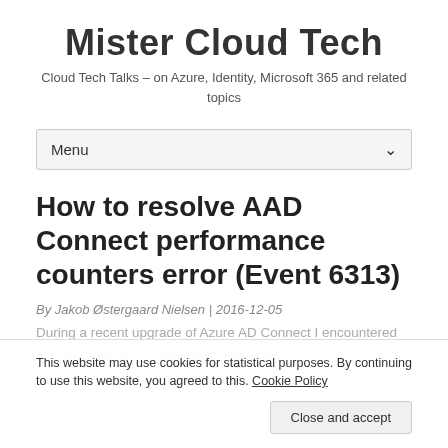Mister Cloud Tech
Cloud Tech Talks – on Azure, Identity, Microsoft 365 and related topics
Menu
How to resolve AAD Connect performance counters error (Event 6313)
By Jakob Østergaard Nielsen | 2016-12-05
During a recent upgrade of Azure AD Connect I encountered the following error in the Application log:
This website may use cookies for statistical purposes. By continuing to use this website, you agreed to this. Cookie Policy